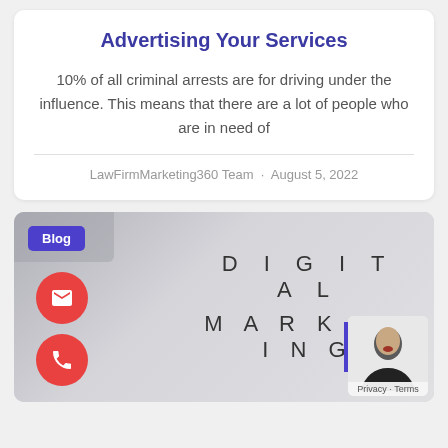Advertising Your Services
10% of all criminal arrests are for driving under the influence. This means that there are a lot of people who are in need of
LawFirmMarketing360 Team · August 5, 2022
[Figure (photo): Photo showing scrabble tiles spelling out DIGITAL MARKETING on a gray surface, with a Blog badge, email and phone floating action buttons, and a small avatar popup in the bottom right corner.]